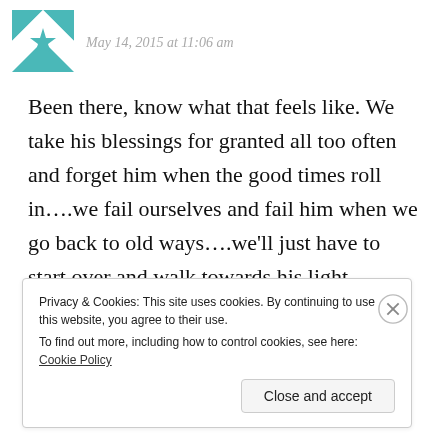[Figure (illustration): Teal and white geometric quilt-pattern avatar icon]
May 14, 2015 at 11:06 am
Been there, know what that feels like. We take his blessings for granted all too often and forget him when the good times roll in….we fail ourselves and fail him when we go back to old ways….we'll just have to start over and walk towards his light……
★ Liked by 1 person
Privacy & Cookies: This site uses cookies. By continuing to use this website, you agree to their use.
To find out more, including how to control cookies, see here: Cookie Policy